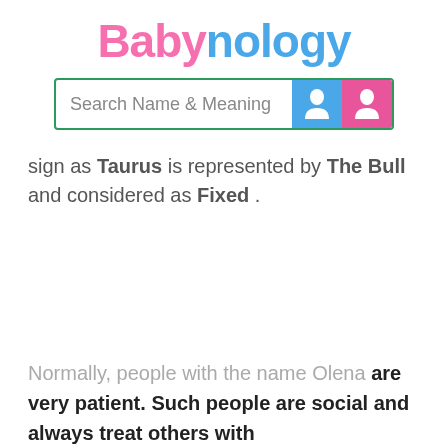Babynology
[Figure (screenshot): Search bar with text 'Search Name & Meaning' and blue male and pink female icon buttons]
sign as Taurus is represented by The Bull and considered as Fixed .
Normally, people with the name Olena are very patient. Such people are social and always treat others with